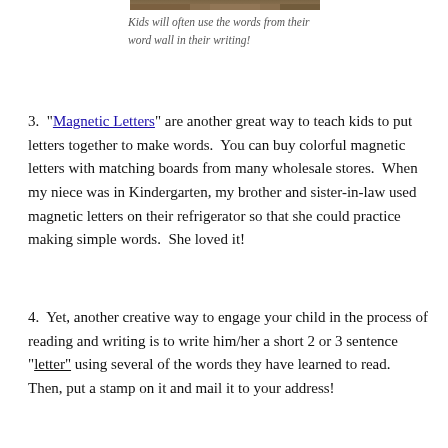[Figure (photo): Partial photo strip visible at top of page showing an outdoor scene]
Kids will often use the words from their word wall in their writing!
3.  "Magnetic Letters" are another great way to teach kids to put letters together to make words.  You can buy colorful magnetic letters with matching boards from many wholesale stores.  When my niece was in Kindergarten, my brother and sister-in-law used magnetic letters on their refrigerator so that she could practice making simple words.  She loved it!
4.  Yet, another creative way to engage your child in the process of reading and writing is to write him/her a short 2 or 3 sentence "letter" using several of the words they have learned to read.  Then, put a stamp on it and mail it to your address!